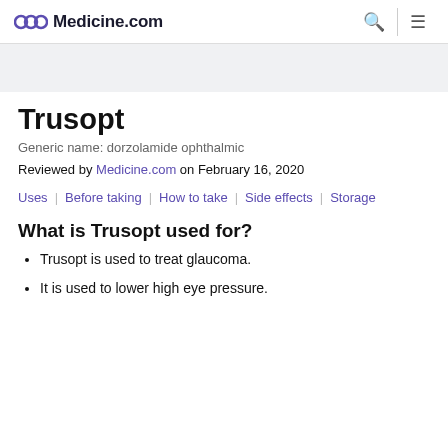Medicine.com
Trusopt
Generic name: dorzolamide ophthalmic
Reviewed by Medicine.com on February 16, 2020
Uses | Before taking | How to take | Side effects | Storage
What is Trusopt used for?
Trusopt is used to treat glaucoma.
It is used to lower high eye pressure.